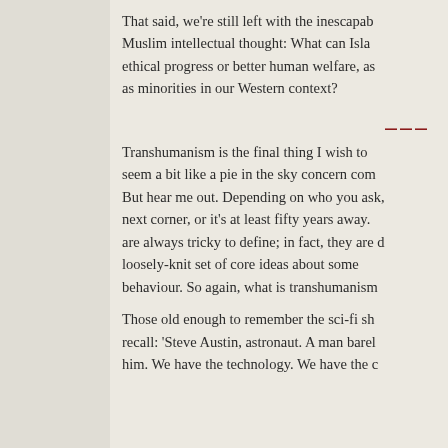That said, we're still left with the inescapable question facing Muslim intellectual thought: What can Islam offer, whether for ethical progress or better human welfare, as majorities in Muslim as minorities in our Western context?
[Figure (other): A decorative horizontal rule made of three dark red horizontal lines]
Transhumanism is the final thing I wish to address. It might seem a bit like a pie in the sky concern compared to the others. But hear me out. Depending on who you ask, it's just around the next corner, or it's at least fifty years away. But movements are always tricky to define; in fact, they are defined more by a loosely-knit set of core ideas about some aspect of human behaviour. So again, what is transhumanism?
Those old enough to remember the sci-fi show The Six Million Dollar Man recall: 'Steve Austin, astronaut. A man barely alive. Gentlemen, we can rebuild him. We have the technology. We have the c